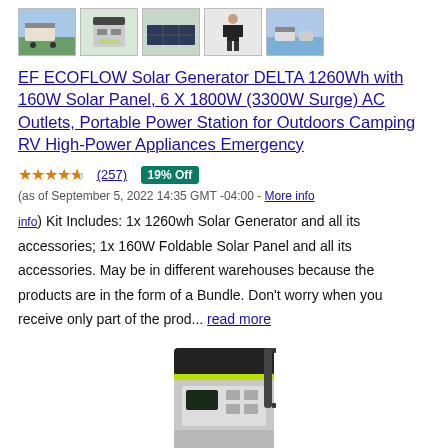[Figure (photo): Row of 5 product thumbnail images showing the EF ECOFLOW solar generator and solar panel in various outdoor/camping settings]
EF ECOFLOW Solar Generator DELTA 1260Wh with 160W Solar Panel, 6 X 1800W (3300W Surge) AC Outlets, Portable Power Station for Outdoors Camping RV High-Power Appliances Emergency
4.5 stars (257) 19% Off (as of September 5, 2022 14:35 GMT -04:00 - More info) Kit Includes: 1x 1260wh Solar Generator and all its accessories; 1x 160W Foldable Solar Panel and all its accessories. May be in different warehouses because the products are in the form of a Bundle. Don't worry when you receive only part of the prod... read more
[Figure (photo): Product image of the EF ECOFLOW DELTA portable power station, a large rectangular silver/black unit with yellow-green accents and a handle, shown on wheels]